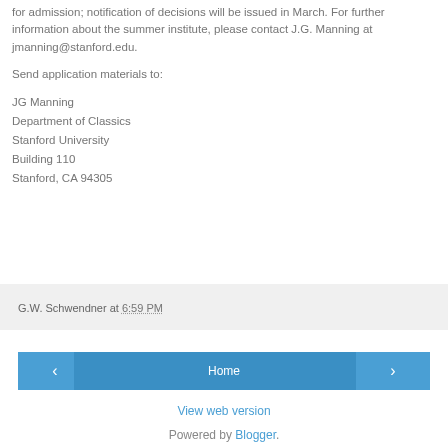for admission; notification of decisions will be issued in March. For further information about the summer institute, please contact J.G. Manning at jmanning@stanford.edu.
Send application materials to:
JG Manning
Department of Classics
Stanford University
Building 110
Stanford, CA 94305
G.W. Schwendner at 6:59 PM
Home
View web version
Powered by Blogger.